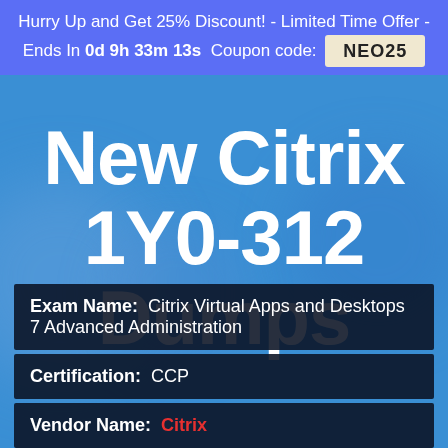Hurry Up and Get 25% Discount! - Limited Time Offer - Ends In 0d 9h 33m 13s Coupon code: NEO25
New Citrix 1Y0-312 Dumps
| Field | Value |
| --- | --- |
| Exam Name: | Citrix Virtual Apps and Desktops 7 Advanced Administration |
| Certification: | CCP |
| Vendor Name: | Citrix |